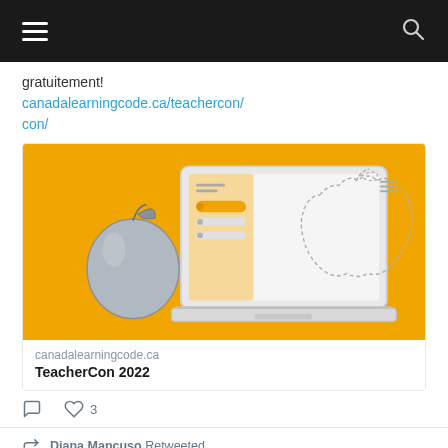[Figure (screenshot): Mobile website navigation bar with hamburger menu on left and search icon on right, dark background]
gratuitement!
canadalearningcode.ca/teachercon/
[Figure (illustration): TeacherCon 2022 promotional image on orange background showing an apple and a laptop with a coding interface]
canadalearningcode.ca
TeacherCon 2022
3
Diana Mancuso Retweeted
Canada Lea